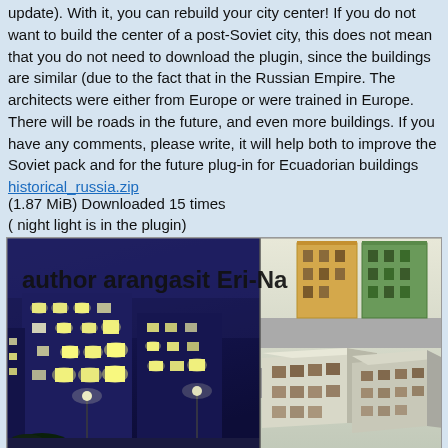update). With it, you can rebuild your city center! If you do not want to build the center of a post-Soviet city, this does not mean that you do not need to download the plugin, since the buildings are similar (due to the fact that in the Russian Empire. The architects were either from Europe or were trained in Europe. There will be roads in the future, and even more buildings. If you have any comments, please write, it will help both to improve the Soviet pack and for the future plug-in for Ecuadorian buildings
historical_russia.zip
(1.87 MiB) Downloaded 15 times
( night light is in the plugin)
[Figure (screenshot): Split screenshot showing a night view of pixelated city buildings on the left (dark blue/purple tones with lit windows) and an isometric daytime view of colorful buildings on the right. Text overlay reads 'author arangasit Eri-Na'.]